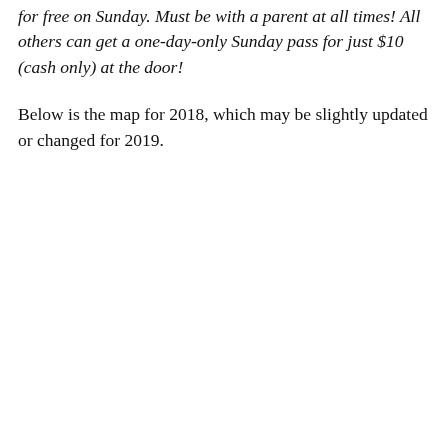for free on Sunday. Must be with a parent at all times! All others can get a one-day-only Sunday pass for just $10 (cash only) at the door!
Below is the map for 2018, which may be slightly updated or changed for 2019.